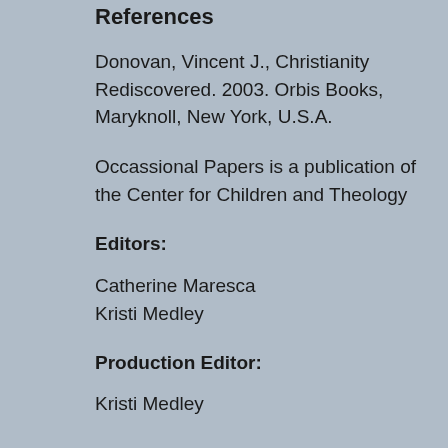References
Donovan, Vincent J., Christianity Rediscovered. 2003. Orbis Books, Maryknoll, New York, U.S.A.
Occassional Papers is a publication of the Center for Children and Theology
Editors:
Catherine Maresca
Kristi Medley
Production Editor:
Kristi Medley